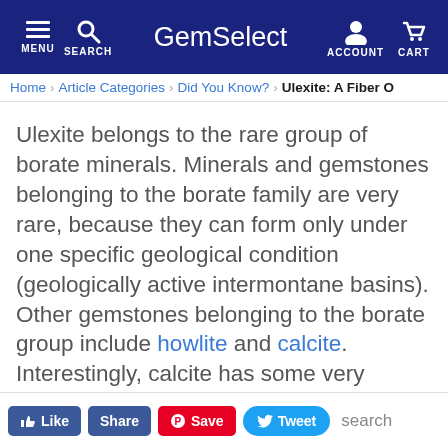GemSelect — MENU SEARCH ACCOUNT CART
Home > Article Categories > Did You Know? > Ulexite: A Fiber C
Ulexite belongs to the rare group of borate minerals. Minerals and gemstones belonging to the borate family are very rare, because they can form only under one specific geological condition (geologically active intermontane basins). Other gemstones belonging to the borate group include howlite and calcite. Interestingly, calcite has some very unique optical traits of its own, which have sparked scientific